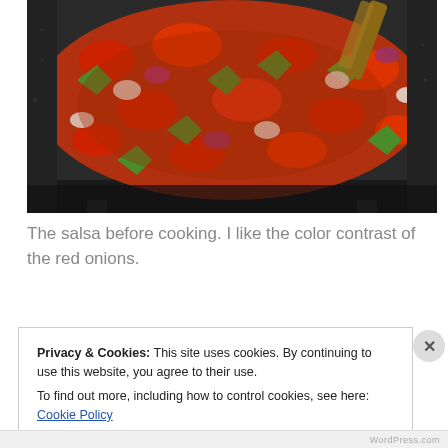[Figure (photo): A dark speckled cooking pot filled with chopped tomatoes, green peppers, red onions, and other salsa ingredients being stirred with a wooden spoon]
The salsa before cooking. I like the color contrast of the red onions.
Privacy & Cookies: This site uses cookies. By continuing to use this website, you agree to their use.
To find out more, including how to control cookies, see here: Cookie Policy
Close and accept